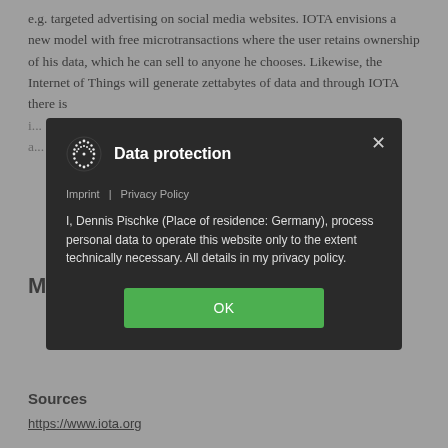e.g. targeted advertising on social media websites. IOTA envisions a new model with free microtransactions where the user retains ownership of his data, which he can sell to anyone he chooses. Likewise, the Internet of Things will generate zettabytes of data and through IOTA there is ...
[Figure (screenshot): Data protection modal dialog overlay on a webpage. The modal has a dark background (#2a2a2a), shows the IOTA logo, title 'Data protection', links for 'Imprint' and 'Privacy Policy', body text 'I, Dennis Pischke (Place of residence: Germany), process personal data to operate this website only to the extent technically necessary. All details in my privacy policy.', and a green OK button.]
M...
Sources
https://www.iota.org